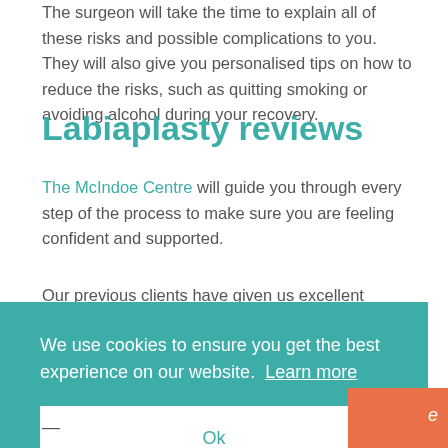The surgeon will take the time to explain all of these risks and possible complications to you. They will also give you personalised tips on how to reduce the risks, such as quitting smoking or avoiding alcohol during your recovery.
Labiaplasty reviews
The McIndoe Centre will guide you through every step of the process to make sure you are feeling confident and supported.
Our previous clients have given us excellent feedback,
We use cookies to ensure you get the best experience on our website. Learn more
Ok
as
e